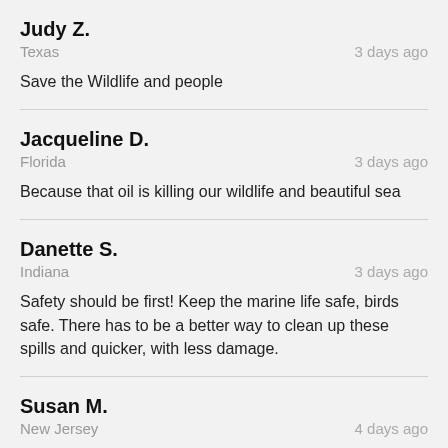Judy Z.
Texas · 3 days ago
Save the Wildlife and people
Jacqueline D.
Florida · 3 days ago
Because that oil is killing our wildlife and beautiful sea
Danette S.
Indiana · 3 days ago
Safety should be first! Keep the marine life safe, birds safe. There has to be a better way to clean up these spills and quicker, with less damage.
Susan M.
New Jersey · 4 days ago